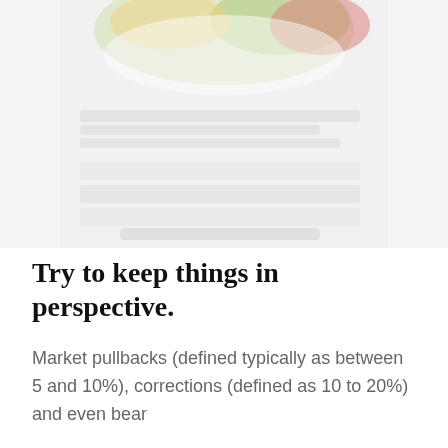[Figure (other): Blurred/partially visible chart or infographic with green, yellow, and red colored elements at top, and a blurred table or data visualization below. The image appears to be a pie or donut chart segment at top with a blurred data table beneath it.]
Try to keep things in perspective.
Market pullbacks (defined typically as between 5 and 10%), corrections (defined as 10 to 20%) and even bear